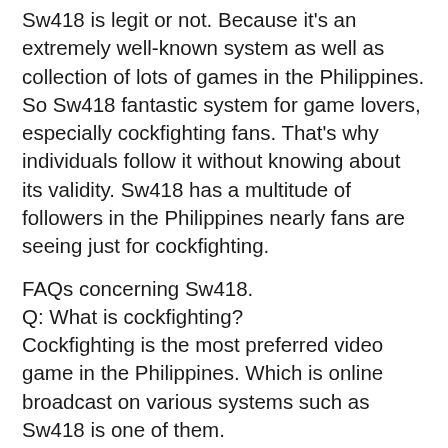Sw418 is legit or not. Because it's an extremely well-known system as well as collection of lots of games in the Philippines. So Sw418 fantastic system for game lovers, especially cockfighting fans. That's why individuals follow it without knowing about its validity. Sw418 has a multitude of followers in the Philippines nearly fans are seeing just for cockfighting.
FAQs concerning Sw418.
Q: What is cockfighting?
Cockfighting is the most preferred video game in the Philippines. Which is online broadcast on various systems such as Sw418 is one of them.
Q: Is Sw418 legit?
The age of Sw418 is less than one year, So it's really tough to find whether it's legitimate or not. Due to the fact that no one count on newly constructed sites like Sw418.